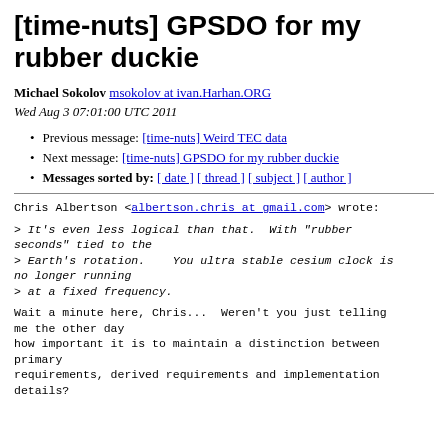[time-nuts] GPSDO for my rubber duckie
Michael Sokolov msokolov at ivan.Harhan.ORG
Wed Aug 3 07:01:00 UTC 2011
Previous message: [time-nuts] Weird TEC data
Next message: [time-nuts] GPSDO for my rubber duckie
Messages sorted by: [ date ] [ thread ] [ subject ] [ author ]
Chris Albertson <albertson.chris at gmail.com> wrote:
> It's even less logical than that.  With "rubber seconds" tied to the
> Earth's rotation.   You ultra stable cesium clock is no longer running
> at a fixed frequency.
Wait a minute here, Chris...  Weren't you just telling me the other day
how important it is to maintain a distinction between primary
requirements, derived requirements and implementation details?